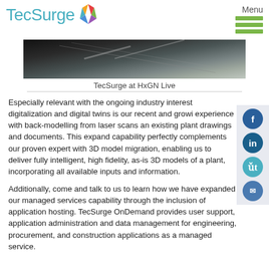TecSurge
[Figure (photo): Photograph showing engineering drawings or documents with a laptop, dark background with diagonal paper or screen elements.]
TecSurge at HxGN Live
Especially relevant with the ongoing industry interest digitalization and digital twins is our recent and growing experience with back-modelling from laser scans and existing plant drawings and documents. This expanded capability perfectly complements our proven expertise with 3D model migration, enabling us to deliver fully intelligent, high fidelity, as-is 3D models of a plant, incorporating all available inputs and information.
Additionally, come and talk to us to learn how we have expanded our managed services capability through the inclusion of application hosting. TecSurge OnDemand provides user support, application administration and data management for engineering, procurement, and construction applications as a managed service.